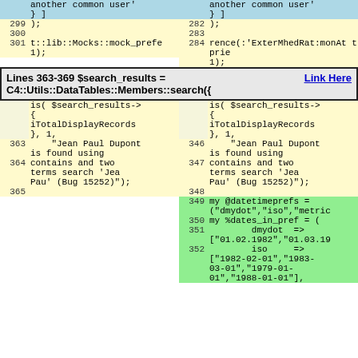[Figure (screenshot): Code diff view showing two columns of code. Top portion shows lines 299-301 on left (yellow/blue background) and lines 282-284 on right (yellow/blue background) with Perl/test code. A banner section shows 'Lines 363-369 $search_results = C4::Utils::DataTables::Members::search({' with a 'Link Here' hyperlink. Bottom portion shows lines 363-365 on left and lines 346-352 on right with code including search results and datetime preferences.]